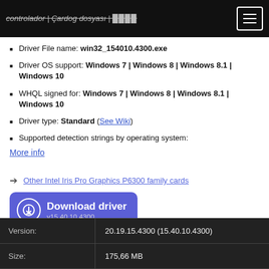controlador | Çardog dosyası | ████
Driver File name: win32_154010.4300.exe
Driver OS support: Windows 7 | Windows 8 | Windows 8.1 | Windows 10
WHQL signed for: Windows 7 | Windows 8 | Windows 8.1 | Windows 10
Driver type: Standard (See Wiki)
Supported detection strings by operating system:
More info
Other Intel Iris Pro Graphics P6300 family cards
[Figure (other): Download driver button with icon, labeled 'Download driver v15.40.10.4300']
|  |  |
| --- | --- |
| Version: | 20.19.15.4300 (15.40.10.4300) |
| Size: | 175,66 MB |